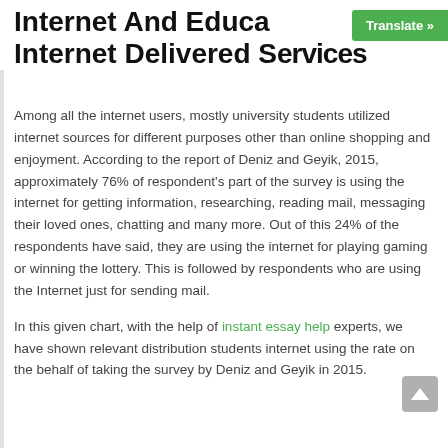Internet And Education Internet Delivered Services
Among all the internet users, mostly university students utilized internet sources for different purposes other than online shopping and enjoyment. According to the report of Deniz and Geyik, 2015, approximately 76% of respondent's part of the survey is using the internet for getting information, researching, reading mail, messaging their loved ones, chatting and many more. Out of this 24% of the respondents have said, they are using the internet for playing gaming or winning the lottery. This is followed by respondents who are using the Internet just for sending mail.
In this given chart, with the help of instant essay help experts, we have shown relevant distribution students internet using the rate on the behalf of taking the survey by Deniz and Geyik in 2015.